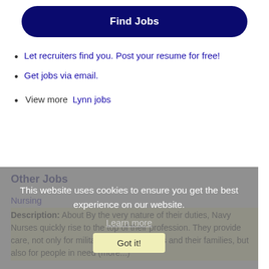[Figure (other): Dark navy blue rounded 'Find Jobs' button]
Let recruiters find you. Post your resume for free!
Get jobs via email.
View more Lynn jobs
This website uses cookies to ensure you get the best experience on our website. Learn more Got it!
Other Jobs
Nursing
Description: About By the very nature of their duties, Navy Nurses quickly rise to the top of their profession. They provide care, not only for military servicemembers and their families, but also for people in need (more...)